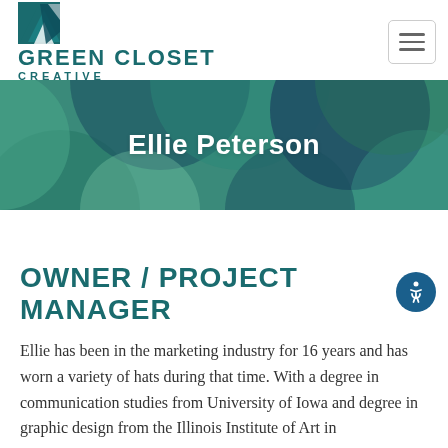[Figure (logo): Green Closet Creative logo with geometric arrow/chevron icon in teal/dark teal]
GREEN CLOSET CREATIVE
[Figure (illustration): Hero banner with abstract geometric circles in teal, green, and dark navy colors]
Ellie Peterson
OWNER / PROJECT MANAGER
Ellie has been in the marketing industry for 16 years and has worn a variety of hats during that time. With a degree in communication studies from University of Iowa and degree in graphic design from the Illinois Institute of Art in